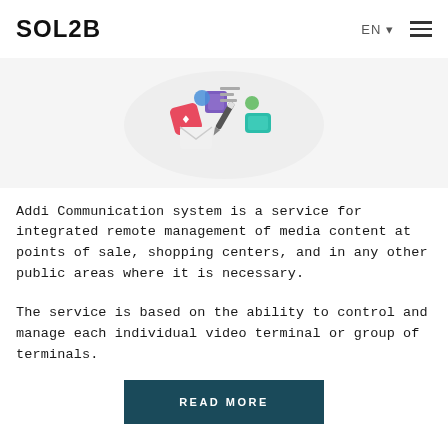SOL2B | EN
[Figure (illustration): Colorful flat design icons including a red diamond, purple cube, teal square, pencil, and other app/media icons arranged on a light circular background]
Addi Communication system is a service for integrated remote management of media content at points of sale, shopping centers, and in any other public areas where it is necessary.
The service is based on the ability to control and manage each individual video terminal or group of terminals.
READ MORE